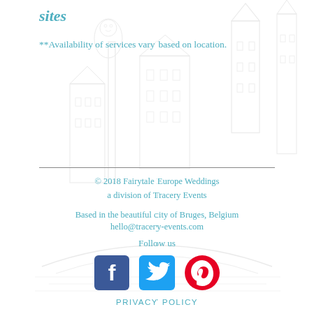sites
**Availability of services vary based on location.
[Figure (illustration): Faint line drawing of European/Belgian cityscape with historic buildings, clock tower, lampposts, and architectural details in light gray]
© 2018 Fairytale Europe Weddings a division of Tracery Events
Based in the beautiful city of Bruges, Belgium
hello@tracery-events.com
Follow us
PRIVACY POLICY